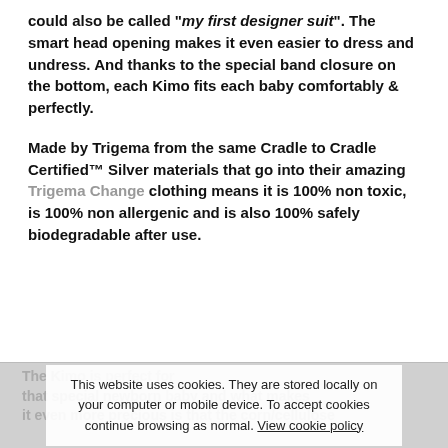could also be called "my first designer suit". The smart head opening makes it even easier to dress and undress. And thanks to the special band closure on the bottom, each Kimo fits each baby comfortably & perfectly.
Made by Trigema from the same Cradle to Cradle Certified™ Silver materials that go into their amazing Trigema Change clothing means it is 100% non toxic, is 100% non allergenic and is also 100% safely biodegradable after use.
The K... [background text partially visible] that special newborn b... and what makes it even more precious is that the corn/cellulose...
This website uses cookies. They are stored locally on your computer or mobile device. To accept cookies continue browsing as normal. View cookie policy